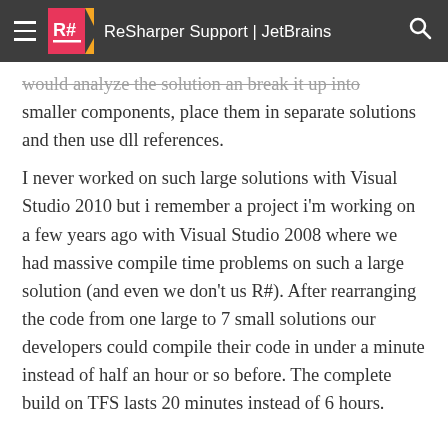ReSharper Support | JetBrains
would analyze the solution an break it up into smaller components, place them in separate solutions and then use dll references.
I never worked on such large solutions with Visual Studio 2010 but i remember a project i'm working on a few years ago with Visual Studio 2008 where we had massive compile time problems on such a large solution (and even we don't us R#). After rearranging the code from one large to 7 small solutions our developers could compile their code in under a minute instead of half an hour or so before. The complete build on TFS lasts 20 minutes instead of 6 hours.